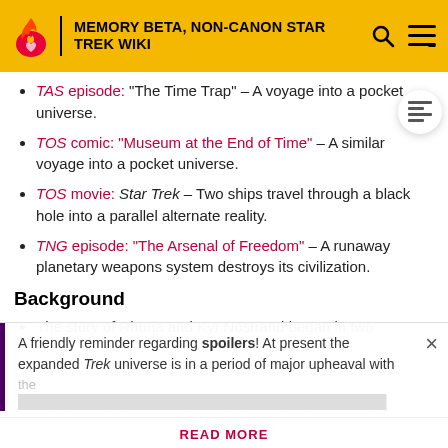MEMORY BETA, NON-CANON STAR TREK WIKI
TAS episode: "The Time Trap" – A voyage into a pocket universe.
TOS comic: "Museum at the End of Time" – A similar voyage into a pocket universe.
TOS movie: Star Trek – Two ships travel through a black hole into a parallel alternate reality.
TNG episode: "The Arsenal of Freedom" – A runaway planetary weapons system destroys its civilization.
Background
The story of Rhuna and Kyr Nostrand began in two
A friendly reminder regarding spoilers! At present the expanded Trek universe is in a period of major upheaval with
READ MORE